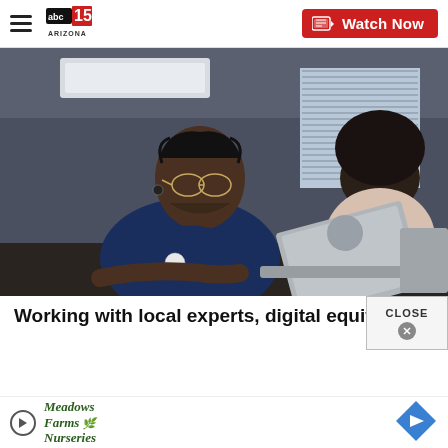abc15 Arizona | Watch Now
[Figure (photo): An older Black man with braids and glasses wearing a blue polo shirt works at a laptop computer. In the background, a young Black woman with curly hair in a pink top also works at a laptop. The setting appears to be a classroom or training room.]
Working with local experts, digital equity is within reach
[Figure (logo): Meadows Farms Nurseries logo with stylized text and plant graphic, with a play button icon to the left]
[Figure (other): Blue diamond-shaped navigation/directions icon]